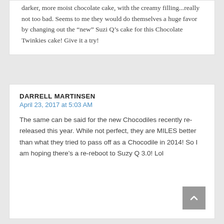darker, more moist chocolate cake, with the creamy filling...really not too bad. Seems to me they would do themselves a huge favor by changing out the “new” Suzi Q’s cake for this Chocolate Twinkies cake! Give it a try!
DARRELL MARTINSEN
April 23, 2017 at 5:03 AM
The same can be said for the new Chocodiles recently re-released this year. While not perfect, they are MILES better than what they tried to pass off as a Chocodile in 2014! So I am hoping there’s a re-reboot to Suzy Q 3.0! Lol